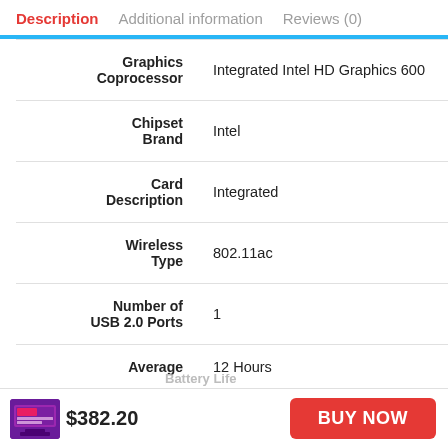Description   Additional information   Reviews (0)
| Attribute | Value |
| --- | --- |
| Graphics Coprocessor | Integrated Intel HD Graphics 600 |
| Chipset Brand | Intel |
| Card Description | Integrated |
| Wireless Type | 802.11ac |
| Number of USB 2.0 Ports | 1 |
| Average Battery Life | 12 Hours |
$382.20   BUY NOW